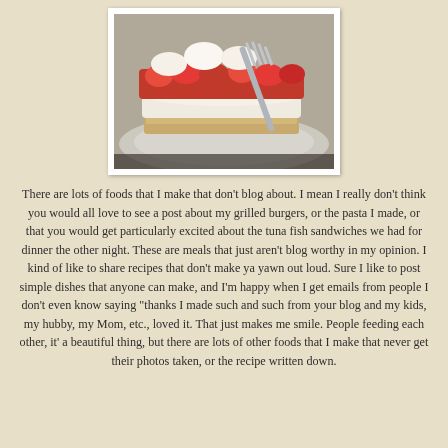[Figure (photo): Close-up photo of a slice of strawberry dessert (shortcake or cheesecake) with cream and fresh strawberries on a white plate, with a fork visible]
There are lots of foods that I make that don't blog about. I mean I really don't think you would all love to see a post about my grilled burgers, or the pasta I made, or that you would get particularly excited about the tuna fish sandwiches we had for dinner the other night. These are meals that just aren't blog worthy in my opinion. I kind of like to share recipes that don't make ya yawn out loud. Sure I like to post simple dishes that anyone can make, and I'm happy when I get emails from people I don't even know saying "thanks I made such and such from your blog and my kids, my hubby, my Mom, etc., loved it. That just makes me smile. People feeding each other, it' a beautiful thing, but there are lots of other foods that I make that never get their photos taken, or the recipe written down.